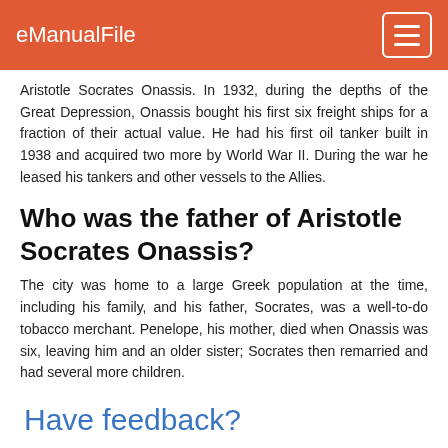eManualFile
Aristotle Socrates Onassis. In 1932, during the depths of the Great Depression, Onassis bought his first six freight ships for a fraction of their actual value. He had his first oil tanker built in 1938 and acquired two more by World War II. During the war he leased his tankers and other vessels to the Allies.
Who was the father of Aristotle Socrates Onassis?
The city was home to a large Greek population at the time, including his family, and his father, Socrates, was a well-to-do tobacco merchant. Penelope, his mother, died when Onassis was six, leaving him and an older sister; Socrates then remarried and had several more children.
Have feedback?
If you have any questions, please do not hesitate to ask us.